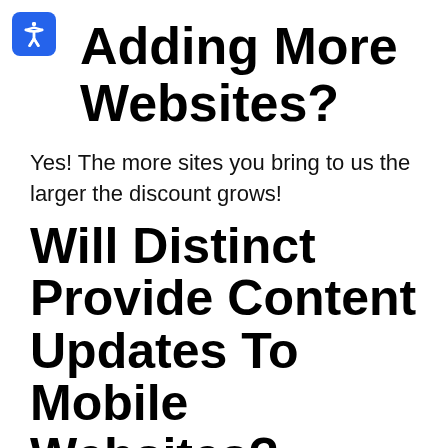Adding More Websites?
Yes! The more sites you bring to us the larger the discount grows!
Will Distinct Provide Content Updates To Mobile Websites?
If the site is not mobile-ready we have bigger problems. We also take mobile design into account.
Are There Any